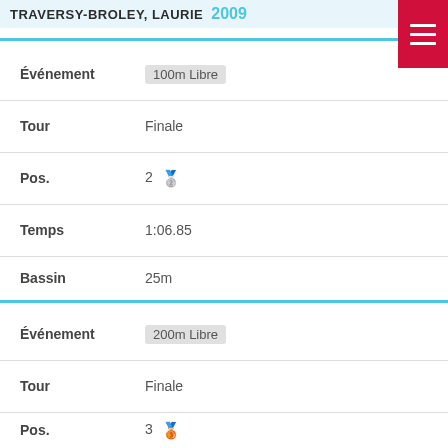TRAVERSY-BROLEY, LAURIE — 2009
| Field | Value |
| --- | --- |
| Événement | 100m Libre |
| Tour | Finale |
| Pos. | 2 🥈 |
| Temps | 1:06.85 |
| Bassin | 25m |
| Événement | 200m Libre |
| Tour | Finale |
| Pos. | 3 🥉 |